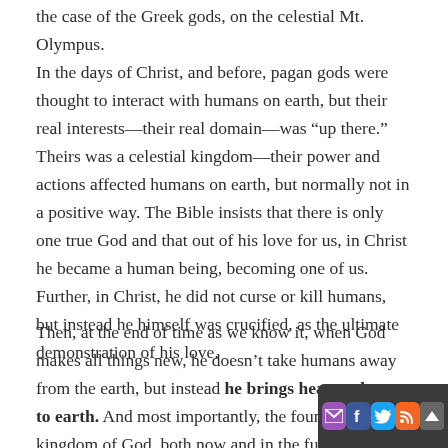the case of the Greek gods, on the celestial Mt. Olympus.
In the days of Christ, and before, pagan gods were thought to interact with humans on earth, but their real interests—their real domain—was “up there.” Theirs was a celestial kingdom—their power and actions affected humans on earth, but normally not in a positive way. The Bible insists that there is only one true God and that out of his love for us, in Christ he became a human being, becoming one of us. Further, in Christ, he did not curse or kill humans, but instead he himself was crucified, as the ultimate demonstration of his love.
Then, at the end of time as we know it, when God makes all things new, he doesn’t take humans away from the earth, but instead he brings heaven down to earth. And most importantly, the foundation of the kingdom of God, both now and in the future, is his grace. God establishes the kingdom for us, by his grace, in the person of Jesus Christ.